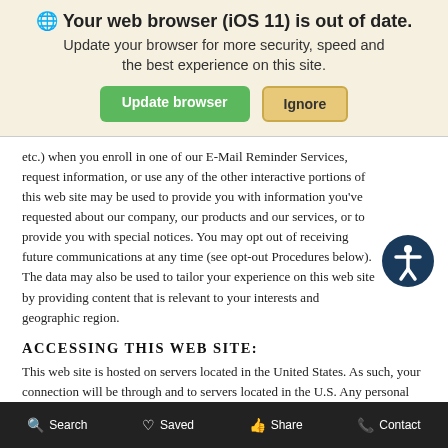[Figure (screenshot): Browser update warning banner with globe icon, bold title 'Your web browser (iOS 11) is out of date.', subtitle 'Update your browser for more security, speed and the best experience on this site.', and two buttons: green 'Update browser' and tan 'Ignore'.]
etc.) when you enroll in one of our E-Mail Reminder Services, request information, or use any of the other interactive portions of this web site may be used to provide you with information you've requested about our company, our products and our services, or to provide you with special notices. You may opt out of receiving future communications at any time (see opt-out Procedures below). The data may also be used to tailor your experience on this web site by providing content that is relevant to your interests and geographic region.
ACCESSING THIS WEB SITE:
This web site is hosted on servers located in the United States. As such, your connection will be through and to servers located in the U.S. Any personal information you provide during your visit will be
Search   Saved   Share   Contact